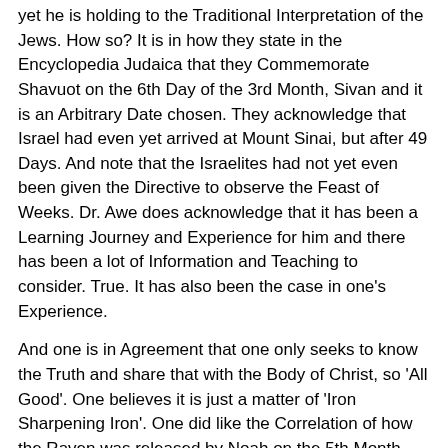yet he is holding to the Traditional Interpretation of the Jews. How so? It is in how they state in the Encyclopedia Judaica that they Commemorate Shavuot on the 6th Day of the 3rd Month, Sivan and it is an Arbitrary Date chosen. They acknowledge that Israel had even yet arrived at Mount Sinai, but after 49 Days. And note that the Israelites had not yet even been given the Directive to observe the Feast of Weeks. Dr. Awe does acknowledge that it has been a Learning Journey and Experience for him and there has been a lot of Information and Teaching to consider. True. It has also been the case in one's Experience.
And one is in Agreement that one only seeks to know the Truth and share that with the Body of Christ, so 'All Good'. One believes it is just a matter of 'Iron Sharpening Iron'. One did like the Correlation of how the Raven was released by Noah on the 5th Month, that of Av. It would follow that if the Rapture does occur in July, the 4th Month as that is one's Argument, then the Month after is when the AntiChrist would appear, in the 5th Month. The 5th Month of Av is associated with Bad Omens, like the Bad Report of the 10 Spies and the 2 Temples being destroyed on the same Day, the 9th of Av, etc.
All this to suggest that, if the Rapture does take place on the 99th Day, as